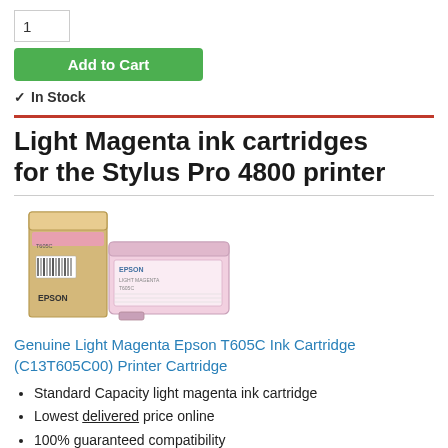1
Add to Cart
✓ In Stock
Light Magenta ink cartridges for the Stylus Pro 4800 printer
[Figure (photo): Epson T605C light magenta ink cartridge box and cartridge unit for Stylus Pro 4800 printer]
Genuine Light Magenta Epson T605C Ink Cartridge (C13T605C00) Printer Cartridge
Standard Capacity light magenta ink cartridge
Lowest delivered price online
100% guaranteed compatibility